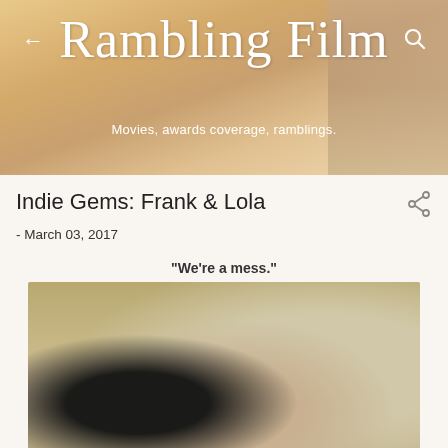← Rambling Film 🔍
Movies, awards coverage, ramblings.
Indie Gems: Frank & Lola
- March 03, 2017
"We're a mess."
[Figure (photo): A man and a woman facing each other closely, the man with dark short hair wearing a dark top, the woman with long blonde hair, in an interior setting with curtains and window light in the background.]
Frank (Michael Shannon) is a chef is Las Vegas. His girlfriend,